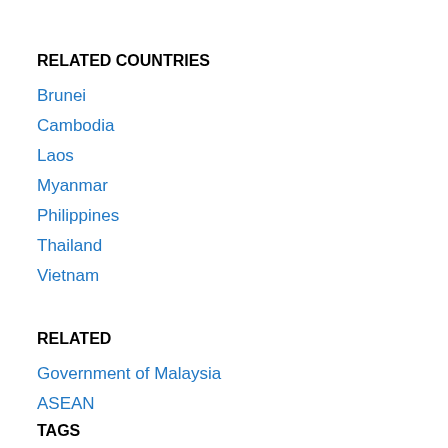RELATED COUNTRIES
Brunei
Cambodia
Laos
Myanmar
Philippines
Thailand
Vietnam
RELATED
Government of Malaysia
ASEAN
TAGS